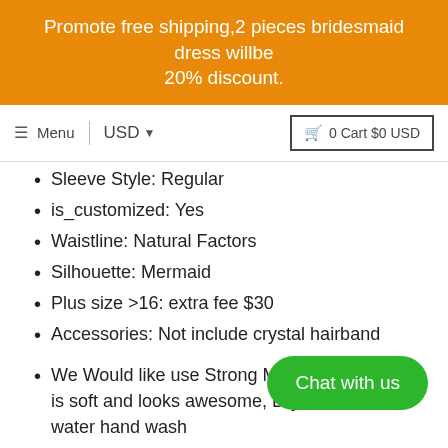Promote free shipping,2 pieces bridesmaid dress willbe 20% discount.
Menu | USD ▼  🛒 0 Cart $0 USD
Sleeve Style: Regular
is_customized: Yes
Waistline: Natural Factors
Silhouette: Mermaid
Plus size >16: extra fee $30
Accessories: Not include crystal hairband
We Would like use Strong Marterial,the fabric is soft and looks awesome, Dry clean or cold water hand wash
For standard size dress.  we wo... on our standard size table, befor... ase make sure the detail measurement matched the